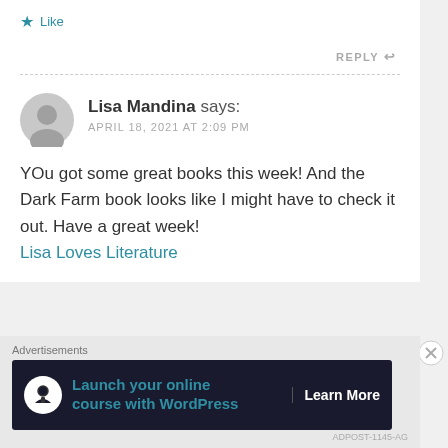★ Like
REPLY ↩
Lisa Mandina says:
APRIL 18, 2021 AT 2:09 PM
YOu got some great books this week! And the Dark Farm book looks like I might have to check it out. Have a great week!
Lisa Loves Literature
[Figure (other): Advertisement banner: Launch your online course with WordPress - Learn More]
Advertisements